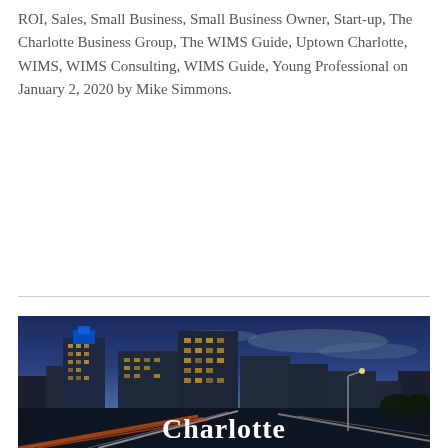ROI, Sales, Small Business, Small Business Owner, Start-up, The Charlotte Business Group, The WIMS Guide, Uptown Charlotte, WIMS, WIMS Consulting, WIMS Guide, Young Professional on January 2, 2020 by Mike Simmons.
[Figure (photo): Night cityscape of Charlotte, NC with illuminated skyscrapers including one with a blue top, highway light trails in the foreground, and the word 'Charlotte' overlaid in large white serif text.]